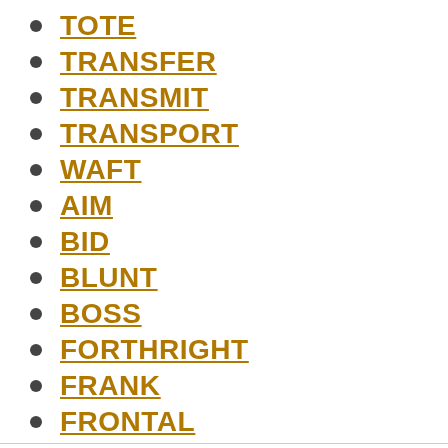TOTE
TRANSFER
TRANSMIT
TRANSPORT
WAFT
AIM
BID
BLUNT
BOSS
FORTHRIGHT
FRANK
FRONTAL
GUIDE